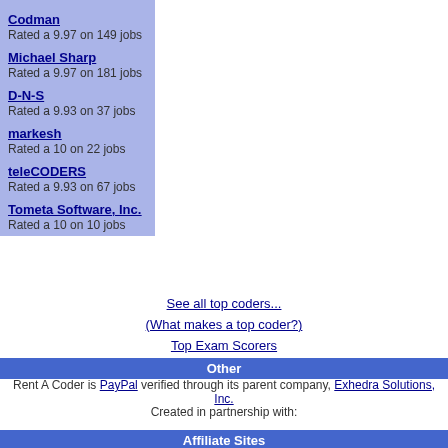Codman
Rated a 9.97 on 149 jobs
Michael Sharp
Rated a 9.97 on 181 jobs
D-N-S
Rated a 9.93 on 37 jobs
markesh
Rated a 10 on 22 jobs
teleCODERS
Rated a 9.93 on 67 jobs
Tometa Software, Inc.
Rated a 10 on 10 jobs
See all top coders...
(What makes a top coder?)
Top Exam Scorers
Other
Rent A Coder is PayPal verified through its parent company, Exhedra Solutions, Inc.
Created in partnership with:
Affiliate Sites
Artifact Software